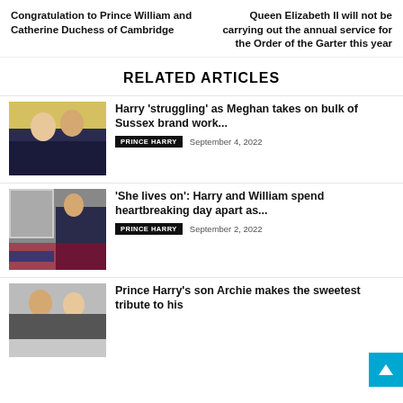Congratulation to Prince William and Catherine Duchess of Cambridge
Queen Elizabeth II will not be carrying out the annual service for the Order of the Garter this year
RELATED ARTICLES
[Figure (photo): Photo of Prince Harry and Meghan Markle]
Harry ‘struggling’ as Meghan takes on bulk of Sussex brand work...
PRINCE HARRY   September 4, 2022
[Figure (photo): Photo of Prince Harry and William at a memorial]
‘She lives on’: Harry and William spend heartbreaking day apart as...
PRINCE HARRY   September 2, 2022
[Figure (photo): Photo of Prince Harry and Meghan Markle smiling]
Prince Harry’s son Archie makes the sweetest tribute to his